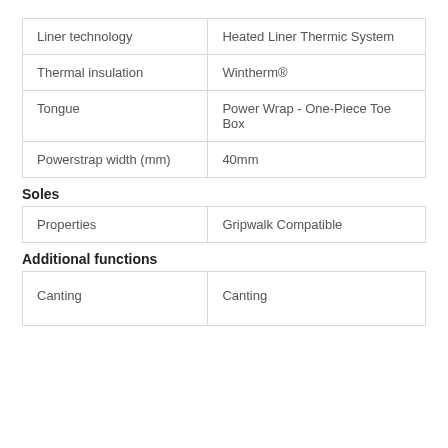| Liner technology | Heated Liner Thermic System |
| Thermal insulation | Wintherm® |
| Tongue | Power Wrap - One-Piece Toe Box |
| Powerstrap width (mm) | 40mm |
Soles
| Properties | Gripwalk Compatible |
Additional functions
| Canting | Canting |